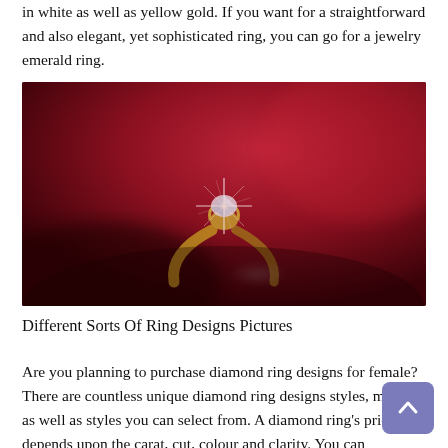in white as well as yellow gold. If you want for a straightforward and also elegant, yet sophisticated ring, you can go for a jewelry emerald ring.
[Figure (photo): A sparkling diamond solitaire ring on a red velvet background, with light refracting from the diamond stone.]
Different Sorts Of Ring Designs Pictures
Are you planning to purchase diamond ring designs for female? There are countless unique diamond ring designs styles, models as well as styles you can select from. A diamond ring's price depends upon the carat, cut, colour and clarity. You can additionally buy diamond